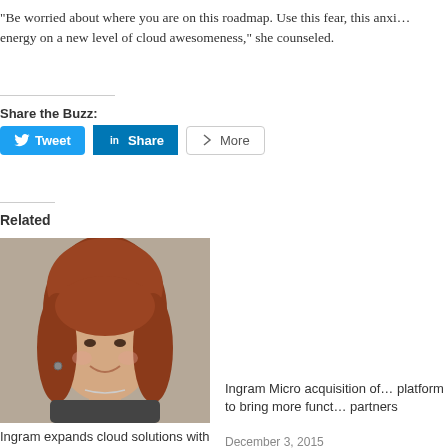"Be worried about where you are on this roadmap. Use this fear, this anxi… energy on a new level of cloud awesomeness," she counseled.
Share the Buzz:
[Figure (other): Social share buttons: Tweet (Twitter), Share (LinkedIn), More]
Related
[Figure (photo): Headshot of a woman with red/auburn hair, smiling, wearing a dark top with a necklace]
Ingram expands cloud solutions with seven new offerings
April 13, 2011
In "Distribution"
Ingram Micro acquisition of… platform to bring more funct… partners
December 3, 2015